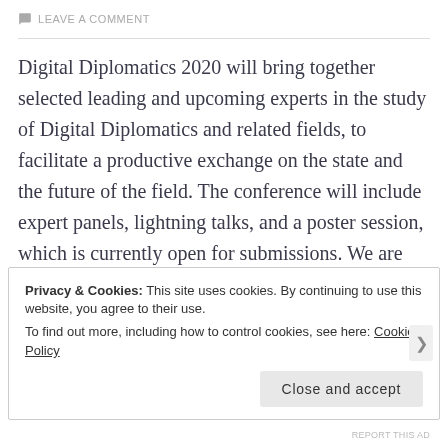LEAVE A COMMENT
Digital Diplomatics 2020 will bring together selected leading and upcoming experts in the study of Digital Diplomatics and related fields, to facilitate a productive exchange on the state and the future of the field. The conference will include expert panels, lightning talks, and a poster session, which is currently open for submissions. We are soliciting posters on any subject related to the study of charters and computing, including:
Privacy & Cookies: This site uses cookies. By continuing to use this website, you agree to their use. To find out more, including how to control cookies, see here: Cookie Policy
Close and accept